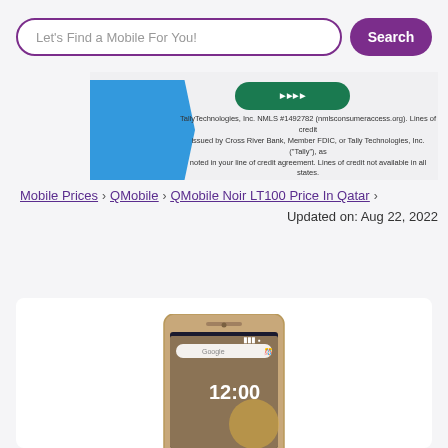Let's Find a Mobile For You!
Search
TallyTechnologies, Inc. NMLS #1492782 (nmlsconsumeraccess.org). Lines of credit issued by Cross River Bank, Member FDIC, or Tally Technologies, Inc. ("Tally"), as noted in your line of credit agreement. Lines of credit not available in all states.
Mobile Prices › QMobile › QMobile Noir LT100 Price In Qatar ›
Updated on: Aug 22, 2022
[Figure (photo): QMobile Noir LT100 smartphone product image showing front face of a gold-colored Android phone with Google search bar and clock showing 12:00]